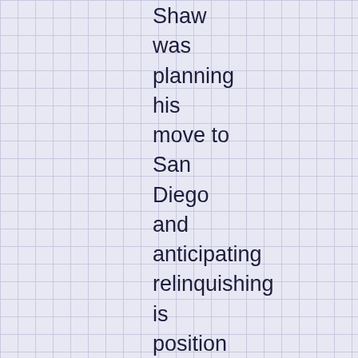Shaw was planning his move to San Diego and anticipating relinquishing is position with the club. Dan Jamison takes a look “The Inside Story: Broadcasting in China” while